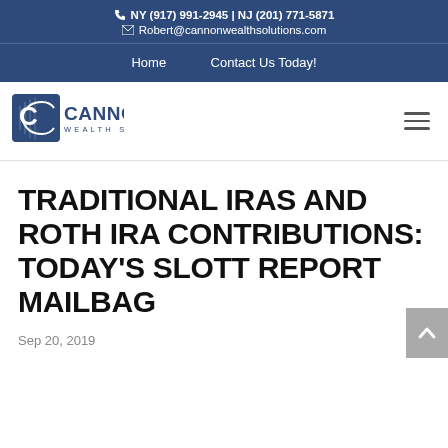NY (917) 991-2945 | NJ (201) 771-5871 | Robert@cannonwealthsolutions.com
Home | Contact Us Today!
[Figure (logo): Cannon Wealth Solutions logo — blue shield/C graphic with CANNON WEALTH SOLUTIONS text]
TRADITIONAL IRAS AND ROTH IRA CONTRIBUTIONS: TODAY'S SLOTT REPORT MAILBAG
Sep 20, 2019